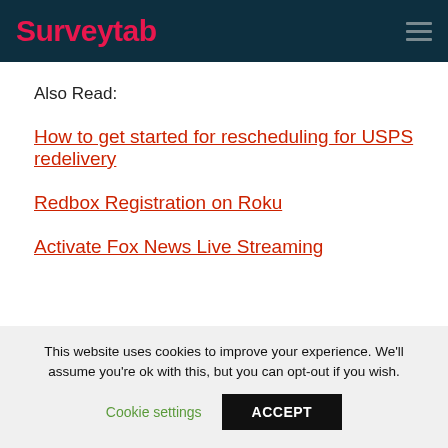Surveytab
Also Read:
How to get started for rescheduling for USPS redelivery
Redbox Registration on Roku
Activate Fox News Live Streaming
This website uses cookies to improve your experience. We'll assume you're ok with this, but you can opt-out if you wish. Cookie settings ACCEPT